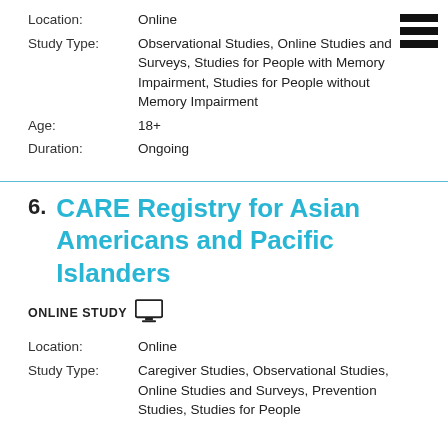Location: Online
Study Type: Observational Studies, Online Studies and Surveys, Studies for People with Memory Impairment, Studies for People without Memory Impairment
Age: 18+
Duration: Ongoing
6. CARE Registry for Asian Americans and Pacific Islanders
ONLINE STUDY
Location: Online
Study Type: Caregiver Studies, Observational Studies, Online Studies and Surveys, Prevention Studies, Studies for People